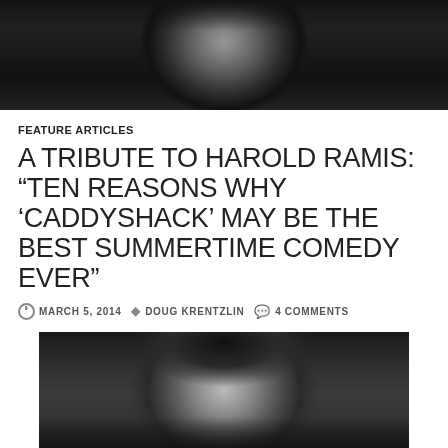[Figure (photo): Black and white photo of a person, cropped to show face/upper body, at top of page]
FEATURE ARTICLES
A TRIBUTE TO HAROLD RAMIS: “TEN REASONS WHY ‘CADDYSHACK’ MAY BE THE BEST SUMMERTIME COMEDY EVER”
MARCH 5, 2014   DOUG KRENTZLIN   4 COMMENTS
[Figure (photo): Black and white photo of a person with dark curly hair, lower portion of page]